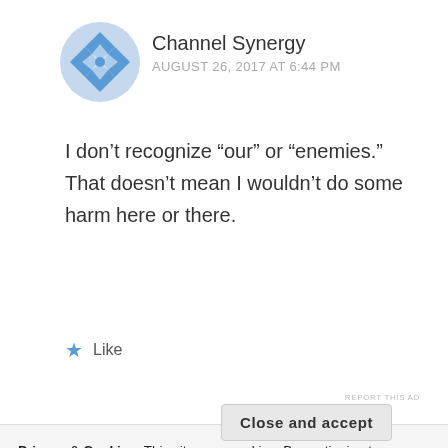[Figure (logo): Channel Synergy avatar — blue geometric diamond/star pattern circle]
Channel Synergy
AUGUST 26, 2017 AT 6:44 PM
I don’t recognize “our” or “enemies.” That doesn’t mean I wouldn’t do some harm here or there.
★ Like
REPORT THIS AD
Privacy & Cookies: This site uses cookies. By continuing to use this website, you agree to their use.
To find out more, including how to control cookies, see here: Cookie Policy
Close and accept